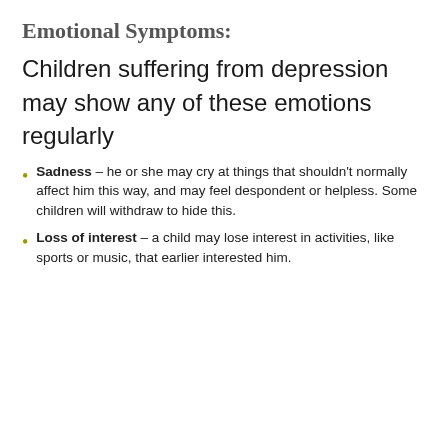Emotional Symptoms:
Children suffering from depression may show any of these emotions regularly
Sadness – he or she may cry at things that shouldn't normally affect him this way, and may feel despondent or helpless. Some children will withdraw to hide this.
Loss of interest – a child may lose interest in activities, like sports or music, that earlier interested him.